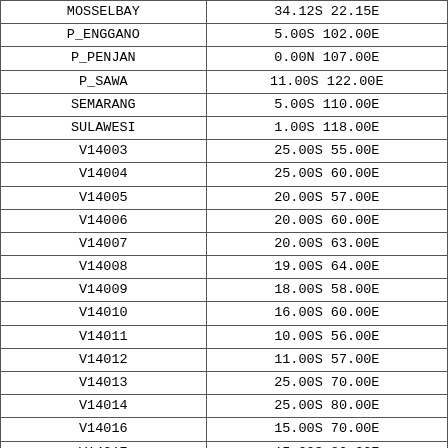| MOSSELBAY | 34.12S 22.15E |
| P_ENGGANO | 5.00S 102.00E |
| P_PENJAN | 0.00N 107.00E |
| P_SAWA | 11.00S 122.00E |
| SEMARANG | 5.00S 110.00E |
| SULAWESI | 1.00S 118.00E |
| V14003 | 25.00S 55.00E |
| V14004 | 25.00S 60.00E |
| V14005 | 20.00S 57.00E |
| V14006 | 20.00S 60.00E |
| V14007 | 20.00S 63.00E |
| V14008 | 19.00S 64.00E |
| V14009 | 18.00S 58.00E |
| V14010 | 16.00S 60.00E |
| V14011 | 10.00S 56.00E |
| V14012 | 11.00S 57.00E |
| V14013 | 25.00S 70.00E |
| V14014 | 25.00S 80.00E |
| V14016 | 15.00S 70.00E |
| V14017 | 15.00S 80.00E |
| V14023 | 5.00S 55.00E |
| V14054 | 5.00S 39.75E |
| V14055 | 5.58S 39.75E |
| V14056 | 6.22S 39.75E |
| V14057 | 6.75S 39.80E |